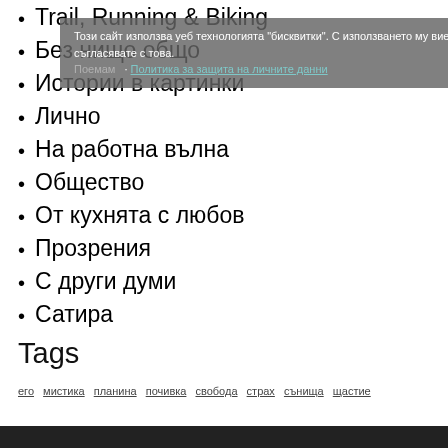Trail, Running & Biking
Без нищо общо
Истории в картинки
Лично
На работна вълна
Общество
От кухнята с любов
Прозрения
С други думи
Сатира
Този сайт използва уеб технологията "бисквитки". С използването му вие се съгласявате с това.
Поемам · Политика за защита на личните данни
Tags
его  мистика  планина  почивка  свобода  страх  сънища  щастие